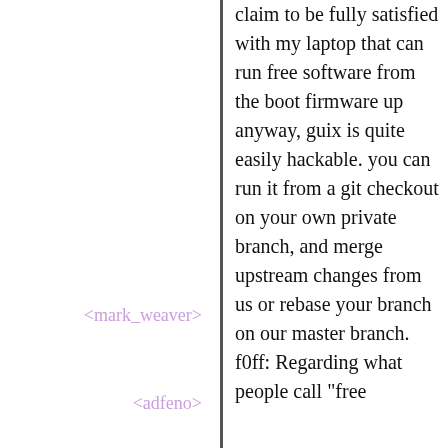claim to be fully satisfied with my laptop that can run free software from the boot firmware up anyway, guix is quite easily hackable. you can run it from a git checkout on your own private branch, and merge upstream changes from us or rebase your branch on our master branch. f0ff: Regarding what people call "free
<mark_weaver>
<adfeno>